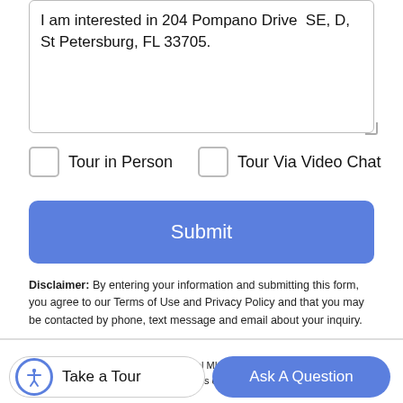I am interested in 204 Pompano Drive  SE, D, St Petersburg, FL 33705.
Tour in Person
Tour Via Video Chat
Submit
Disclaimer: By entering your information and submitting this form, you agree to our Terms of Use and Privacy Policy and that you may be contacted by phone, text message and email about your inquiry.
[Figure (logo): My Florida Regional MLS / Stellar MLS lotus flower logo in teal and purple]
© 2022 My Florida Regional MLS DBA Stellar MLS. All rights reserved. All listings displayed pursuant to
Take a Tour
Ask A Question